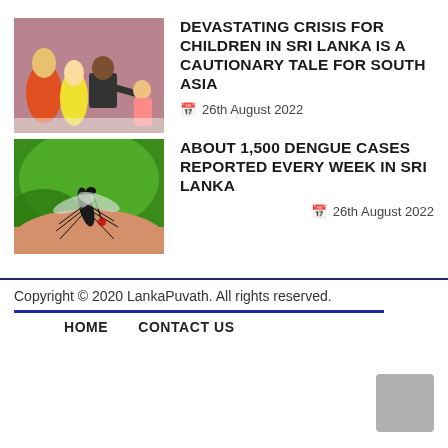[Figure (photo): Photo of a man in a suit kneeling down and interacting with children in colorful traditional clothing]
DEVASTATING CRISIS FOR CHILDREN IN SRI LANKA IS A CAUTIONARY TALE FOR SOUTH ASIA
26th August 2022
[Figure (photo): Close-up photo of a mosquito on human skin with green background]
ABOUT 1,500 DENGUE CASES REPORTED EVERY WEEK IN SRI LANKA
26th August 2022
Copyright © 2020 LankaPuvath. All rights reserved.
HOME   CONTACT US